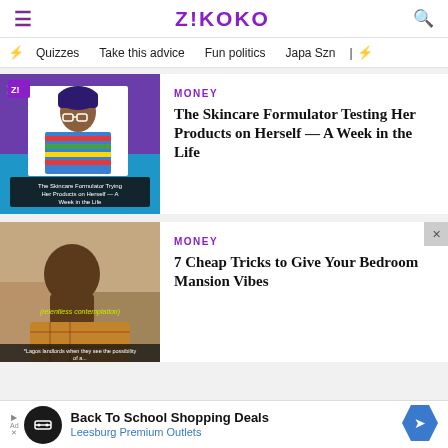ZIKOKO
Quizzes | Take this advice | Fun politics | Japa Szn
[Figure (photo): Article thumbnail: Skincare formulator woman in colorful striped top holding products, against purple background with Zikoko Z! logo]
MONEY
The Skincare Formulator Testing Her Products on Herself — A Week in the Life
[Figure (photo): Article thumbnail: Young boy resting chin on hand in contemplation, with yellow subtitle text 'relentless contemplation' and Lagos landlord caption]
MONEY
7 Cheap Tricks to Give Your Bedroom Mansion Vibes
[Figure (infographic): Advertisement banner: Back To School Shopping Deals - Leesburg Premium Outlets with circular logo and blue directional sign icon]